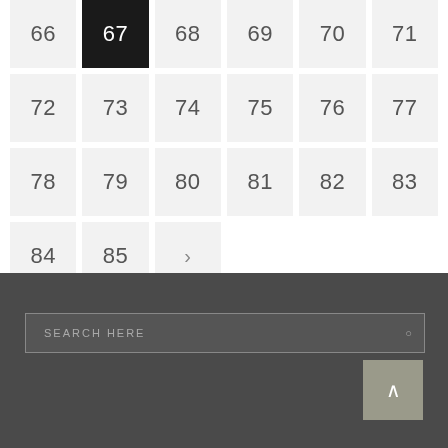66
67 (active)
68
69
70
71
72
73
74
75
76
77
78
79
80
81
82
83
84
85
>
SEARCH HERE